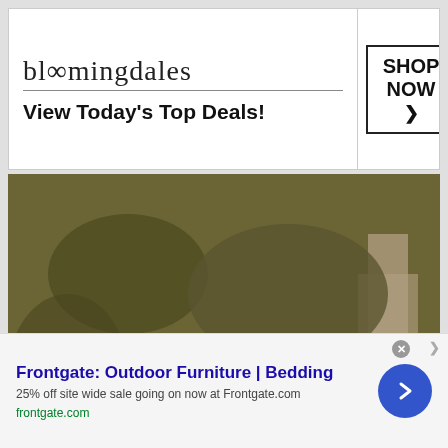[Figure (screenshot): Bloomingdale's advertisement banner with logo, tagline 'View Today's Top Deals!', fashion model with large hat, and SHOP NOW button]
[Figure (photo): Outdoor photo of an elderly man with gray hair wearing a brown coat and black jacket, standing in front of green foliage]
Frontgate: Outdoor Furniture | Bedding
25% off site wide sale going on now at Frontgate.com
frontgate.com